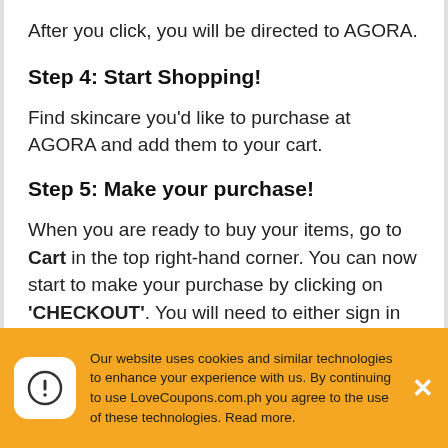After you click, you will be directed to AGORA.
Step 4: Start Shopping!
Find skincare you'd like to purchase at AGORA and add them to your cart.
Step 5: Make your purchase!
When you are ready to buy your items, go to Cart in the top right-hand corner. You can now start to make your purchase by clicking on 'CHECKOUT'. You will need to either sign in or create an account.
Step 6: Enter the code at the AGORA checkout.
Our website uses cookies and similar technologies to enhance your experience with us. By continuing to use LoveCoupons.com.ph you agree to the use of these technologies. Read more.